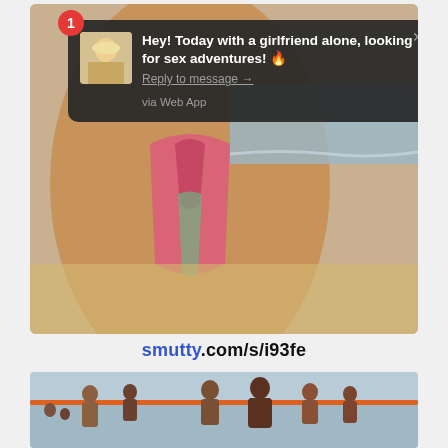[Figure (screenshot): Screenshot of a website showing a beach photo with a popup notification overlay and a second beach photo below. The top image shows a close-up beach/swimwear photo with a dark notification popup. Below is a URL label and a second beach photo showing people in water.]
Hey! Today with a girlfriend alone, looking for sex adventures! 🔥
Reply to message →
via Web App
smutty.com/s/i93fe